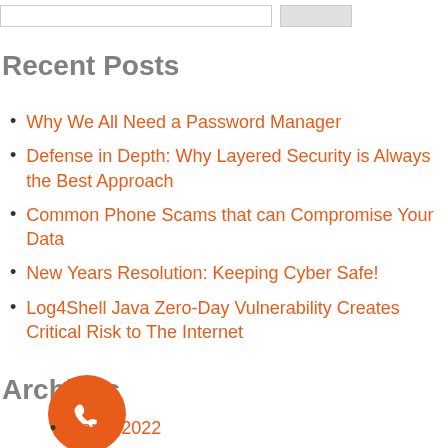Recent Posts
Why We All Need a Password Manager
Defense in Depth: Why Layered Security is Always the Best Approach
Common Phone Scams that can Compromise Your Data
New Years Resolution: Keeping Cyber Safe!
Log4Shell Java Zero-Day Vulnerability Creates Critical Risk to The Internet
Archives
March 2022